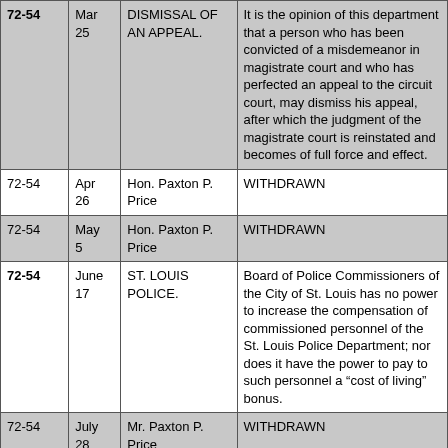| No. | Date | Subject | Synopsis |
| --- | --- | --- | --- |
| 72-54 | Mar 25 | DISMISSAL OF AN APPEAL. | It is the opinion of this department that a person who has been convicted of a misdemeanor in magistrate court and who has perfected an appeal to the circuit court, may dismiss his appeal, after which the judgment of the magistrate court is reinstated and becomes of full force and effect. |
| 72-54 | Apr 26 | Hon. Paxton P. Price | WITHDRAWN |
| 72-54 | May 5 | Hon. Paxton P. Price | WITHDRAWN |
| 72-54 | June 17 | ST. LOUIS POLICE. | Board of Police Commissioners of the City of St. Louis has no power to increase the compensation of commissioned personnel of the St. Louis Police Department; nor does it have the power to pay to such personnel a “cost of living” bonus. |
| 72-54 | July 28 | Mr. Paxton P. Price | WITHDRAWN |
| 72-54 | Oct 8 | VETERANS. TAXATION | A motor vehicle owned by a veteran, who is a legal resident of Missouri, is |